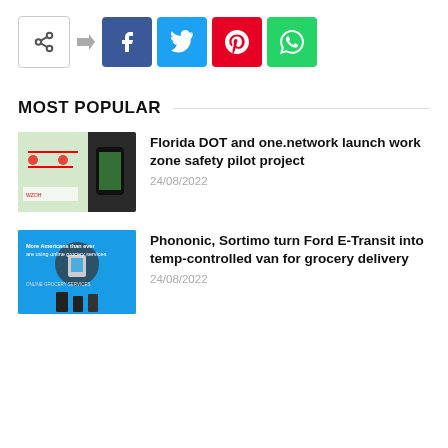[Figure (other): Social share bar with share icon, arrow, and four colored social media buttons: Facebook (blue), Twitter (light blue), Pinterest (red), WhatsApp (green)]
MOST POPULAR
[Figure (photo): Thumbnail image for Florida DOT and one.network work zone safety pilot project article]
Florida DOT and one.network launch work zone safety pilot project
24/08/2022
[Figure (photo): Thumbnail image for Phononic, Sortimo Ford E-Transit grocery delivery article — blue infographic about online grocery services]
Phononic, Sortimo turn Ford E-Transit into temp-controlled van for grocery delivery
24/08/2022